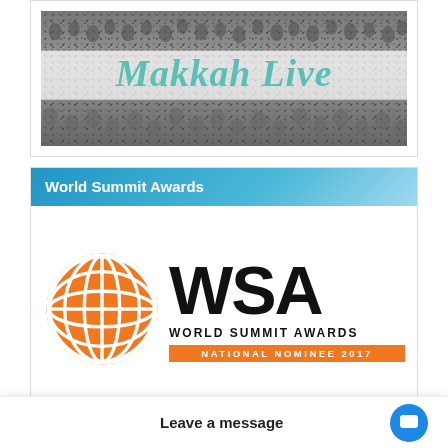[Figure (illustration): Makkah Live banner image showing a crowd of pilgrims with a semi-transparent white overlay band displaying the text 'Makkah Live' in teal italic font]
World Summit Awards
[Figure (logo): World Summit Awards logo featuring an orange globe with white grid lines next to large bold 'WSA' text, 'WORLD SUMMIT AWARDS' below, and an orange banner reading 'NATIONAL NOMINEE 2017']
Leave a message